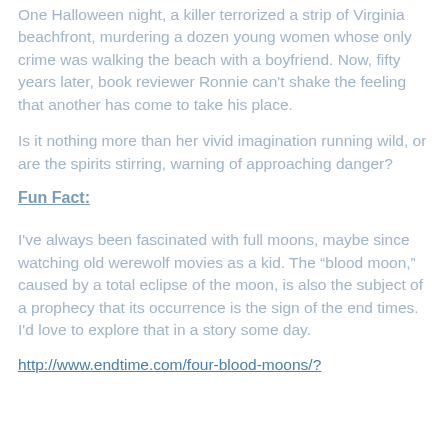One Halloween night, a killer terrorized a strip of Virginia beachfront, murdering a dozen young women whose only crime was walking the beach with a boyfriend. Now, fifty years later, book reviewer Ronnie can't shake the feeling that another has come to take his place.
Is it nothing more than her vivid imagination running wild, or are the spirits stirring, warning of approaching danger?
Fun Fact:
I've always been fascinated with full moons, maybe since watching old werewolf movies as a kid. The “blood moon,” caused by a total eclipse of the moon, is also the subject of a prophecy that its occurrence is the sign of the end times. I'd love to explore that in a story some day.
http://www.endtime.com/four-blood-moons/?